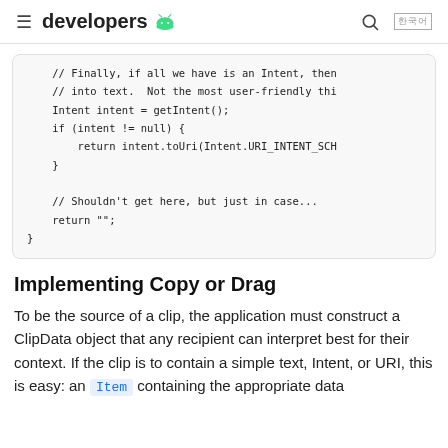≡  developers  🤖   🔍  한국어
[Figure (screenshot): Code block showing Java/Android code snippet with comments and return statements]
Implementing Copy or Drag
To be the source of a clip, the application must construct a ClipData object that any recipient can interpret best for their context. If the clip is to contain a simple text, Intent, or URI, this is easy: an Item containing the appropriate data